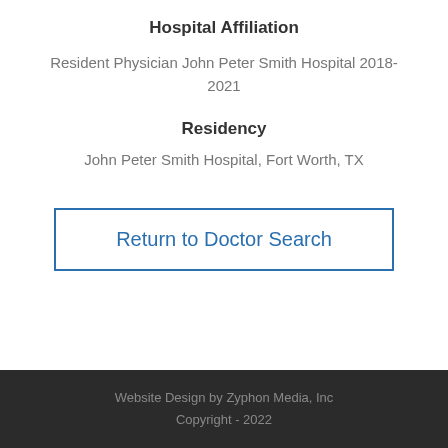Hospital Affiliation
Resident Physician John Peter Smith Hospital 2018-2021
Residency
John Peter Smith Hospital, Fort Worth, TX
Return to Doctor Search
Website Design by Zyphon Media, Inc
Copyright - 2022